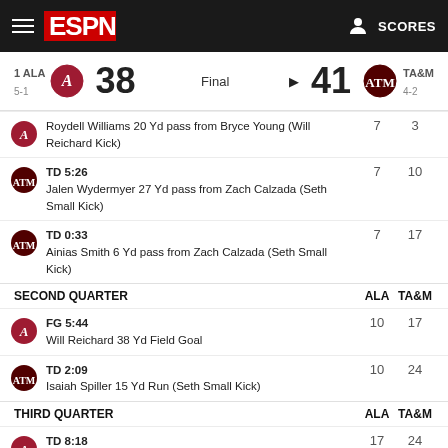ESPN — SCORES
1 ALA 38 Final 41 TA&M 4-2
Roydell Williams 20 Yd pass from Bryce Young (Will Reichard Kick) — ALA 7, TA&M 3
TD 5:26 Jalen Wydermyer 27 Yd pass from Zach Calzada (Seth Small Kick) — ALA 7, TA&M 10
TD 0:33 Ainias Smith 6 Yd pass from Zach Calzada (Seth Small Kick) — ALA 7, TA&M 17
SECOND QUARTER — ALA TA&M
FG 5:44 Will Reichard 38 Yd Field Goal — ALA 10, TA&M 17
TD 2:09 Isaiah Spiller 15 Yd Run (Seth Small Kick) — ALA 10, TA&M 24
THIRD QUARTER — ALA TA&M
TD 8:18 King Mwikuta 0 Yd Return of Blocked Punt (Will Reichard Kick) — ALA 17, TA&M 24
TD 8:00 Devon Achane 96 Yd Kickoff Return (Seth Small Kick) — ALA 17, TA&M 31
TD 5:30